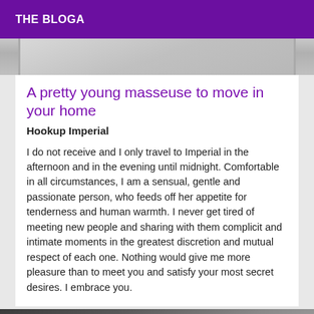THE BLOGA
[Figure (photo): Top portion of a photo, appears to show light-colored fabric or bedding]
A pretty young masseuse to move in your home
Hookup Imperial
I do not receive and I only travel to Imperial in the afternoon and in the evening until midnight. Comfortable in all circumstances, I am a sensual, gentle and passionate person, who feeds off her appetite for tenderness and human warmth. I never get tired of meeting new people and sharing with them complicit and intimate moments in the greatest discretion and mutual respect of each one. Nothing would give me more pleasure than to meet you and satisfy your most secret desires. I embrace you.
[Figure (photo): Black and white photo, partially visible at the bottom of the page, with a VIP badge in the lower right corner]